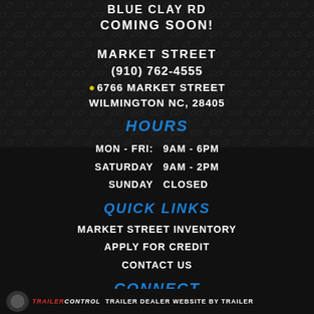BLUE CLAY RD COMING SOON!
MARKET STREET
(910) 762-4555
6766 MARKET STREET WILMINGTON NC, 28405
HOURS
MON - FRI:    9AM - 6PM
SATURDAY    9AM - 2PM
SUNDAY       CLOSED
QUICK LINKS
MARKET STREET INVENTORY
APPLY FOR CREDIT
CONTACT US
CONNECT
[Figure (illustration): Facebook icon button (blue square with white f) and email icon button (blue square with white envelope)]
TrailerControl TRAILER DEALER WEBSITE BY TRAILER